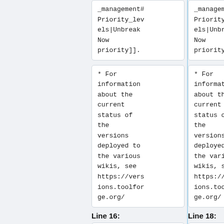_management#Priority_levels|UnbreakNow priority]].
_management#Priority_levels|UnbreakNow priority]].
* For information about the current status of the versions deployed to the various wikis, see https://versions.toolforge.org/
* For information about the current status of the versions deployed to the various wikis, see https://versions.toolforge.org/
Line 16:
Line 18: